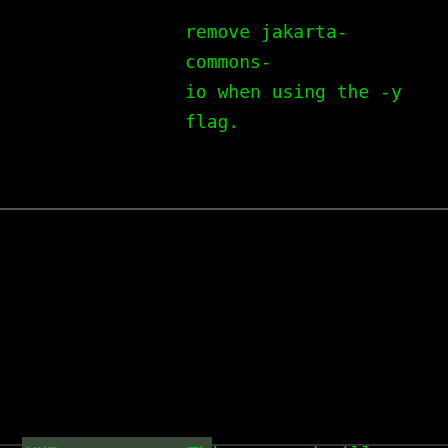remove jakarta-commons-io when using the -y flag.
yum update jakarta-commons-io
This command will update jakarta-commons-io to the latest version. When you run this command, you will be asked if you are sure that you want to remove jakarta-commons-io, so you have to manually confirm that you want to do this.